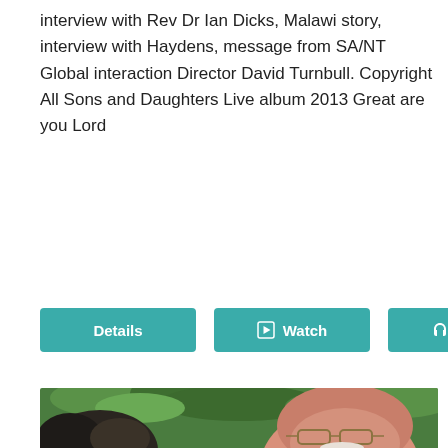interview with Rev Dr Ian Dicks, Malawi story, interview with Haydens, message from SA/NT Global interaction Director David Turnbull. Copyright All Sons and Daughters Live album 2013 Great are you Lord
[Figure (other): Three buttons: Details, Watch (with play icon), Listen (with headphones icon), all teal/green colored]
[Figure (photo): Outdoor photo showing two people (partially cropped): a woman with dark hair on the left and an older bald man with glasses and a white beard/mustache on the right, with green foliage in the background]